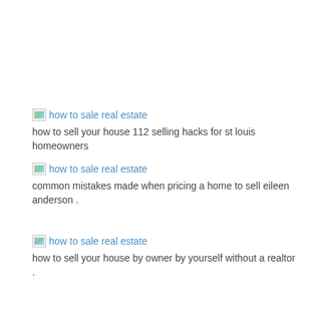[Figure (illustration): Broken image placeholder with alt text 'how to sale real estate']
how to sell your house 112 selling hacks for st louis homeowners
.
[Figure (illustration): Broken image placeholder with alt text 'how to sale real estate']
common mistakes made when pricing a home to sell eileen anderson .
[Figure (illustration): Broken image placeholder with alt text 'how to sale real estate']
how to sell your house by owner by yourself without a realtor .